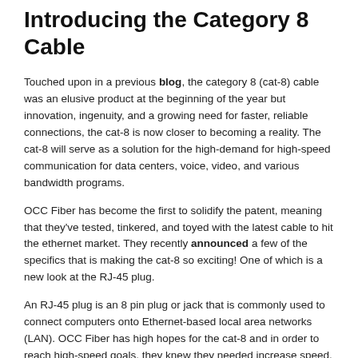Introducing the Category 8 Cable
Touched upon in a previous blog, the category 8 (cat-8) cable was an elusive product at the beginning of the year but innovation, ingenuity, and a growing need for faster, reliable connections, the cat-8 is now closer to becoming a reality. The cat-8 will serve as a solution for the high-demand for high-speed communication for data centers, voice, video, and various bandwidth programs.
OCC Fiber has become the first to solidify the patent, meaning that they've tested, tinkered, and toyed with the latest cable to hit the ethernet market. They recently announced a few of the specifics that is making the cat-8 so exciting! One of which is a new look at the RJ-45 plug.
An RJ-45 plug is an 8 pin plug or jack that is commonly used to connect computers onto Ethernet-based local area networks (LAN). OCC Fiber has high hopes for the cat-8 and in order to reach high-speed goals, they knew they needed increase speed. They are now introducing a new RJ-45 plug that will reach data speeds of up to 40 Gb/s; that's 4x the speeds of many of today's users. Their new RJ-45 plug includes an internal circuit board that minimizes crosstalk and other factors that affect speed.